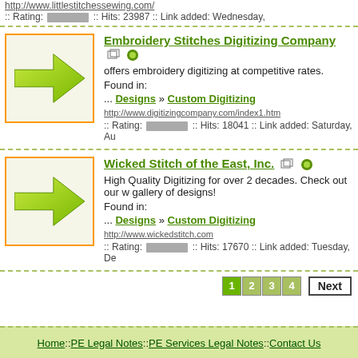http://www.littlestitchessewing.com/
:: Rating: [bar] :: Hits: 23987 :: Link added: Wednesday,
[Figure (illustration): Green arrow icon pointing left with orange border box]
Embroidery Stitches Digitizing Company
offers embroidery digitizing at competitive rates.
Found in:
... Designs » Custom Digitizing
http://www.digitizingcompany.com/index1.htm
:: Rating: [bar] :: Hits: 18041 :: Link added: Saturday, Au
[Figure (illustration): Green arrow icon pointing left with orange border box]
Wicked Stitch of the East, Inc.
High Quality Digitizing for over 2 decades. Check out our w gallery of designs!
Found in:
... Designs » Custom Digitizing
http://www.wickedstitch.com
:: Rating: [bar] :: Hits: 17670 :: Link added: Tuesday, De
1 2 3 4 Next
Home :: PE Legal Notes :: PE Services Legal Notes :: Contact Us